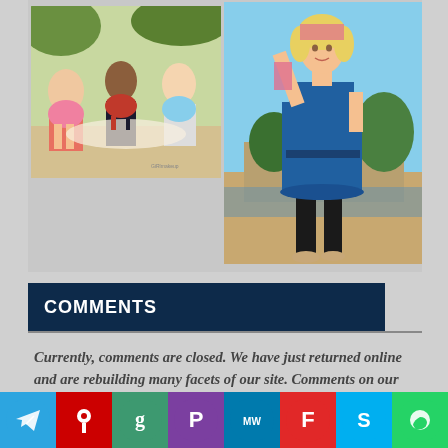[Figure (photo): Left photo: group of young women sitting outdoors at a picnic in summer dresses]
[Figure (photo): Right photo: tall fashion illustration/painting of a woman in a blue dress posing in front of an arch bridge]
COMMENTS
Currently, comments are closed. We have just returned online and are rebuilding many facets of our site. Comments on our site are temporarily disabled until
[Figure (infographic): Social sharing buttons row: Telegram, unknown, Goodreads, Flipboard-like, MeWe, Flipboard, Skype, WhatsApp, more (+)]